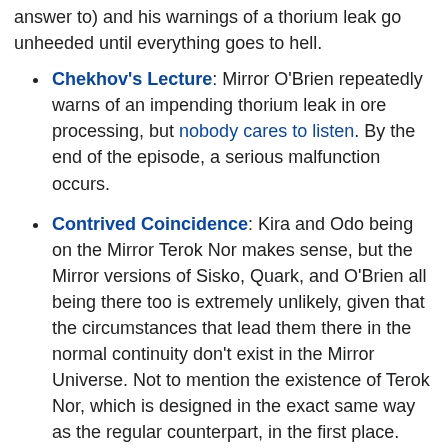answer to) and his warnings of a thorium leak go unheeded until everything goes to hell.
Chekhov's Lecture: Mirror O'Brien repeatedly warns of an impending thorium leak in ore processing, but nobody cares to listen. By the end of the episode, a serious malfunction occurs.
Contrived Coincidence: Kira and Odo being on the Mirror Terok Nor makes sense, but the Mirror versions of Sisko, Quark, and O'Brien all being there too is extremely unlikely, given that the circumstances that lead them there in the normal continuity don't exist in the Mirror Universe. Not to mention the existence of Terok Nor, which is designed in the exact same way as the regular counterpart, in the first place.
Crapsack World: Despite Kirk indeed managing to convince mirror Spock to reform the Terran Empire for the better, that only made them weak enough for the Cardassian/Klingon/Bajoran alliance to conquer them, resulting in a world where the bad guy won and humans